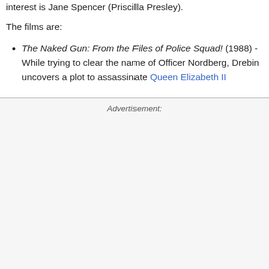interest is Jane Spencer (Priscilla Presley).
The films are:
The Naked Gun: From the Files of Police Squad! (1988) - While trying to clear the name of Officer Nordberg, Drebin uncovers a plot to assassinate Queen Elizabeth II
Advertisement: